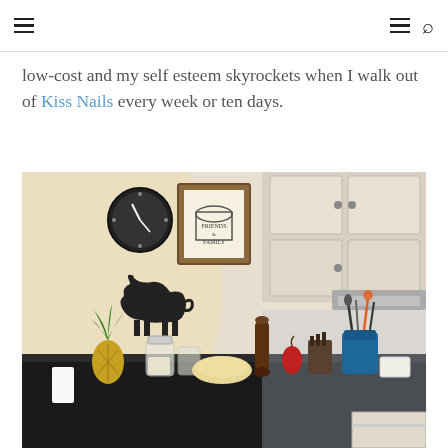navigation header with hamburger menus and search icon
low-cost and my self esteem skyrockets when I walk out of Kiss Nails every week or ten days.
[Figure (photo): Kitchen counter scene with a pineapple, glass jars, bread bags, wooden pepper mill, spice containers, and a blue utensil holder with cooking tools. On the wall behind there is a round clock and a framed 'Friends Family' sign and a black cow silhouette decoration. White upper cabinets are visible on the right side.]